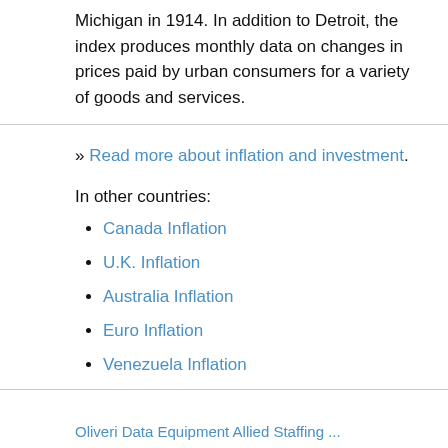Michigan in 1914. In addition to Detroit, the index produces monthly data on changes in prices paid by urban consumers for a variety of goods and services.
» Read more about inflation and investment.
In other countries:
Canada Inflation
U.K. Inflation
Australia Inflation
Euro Inflation
Venezuela Inflation